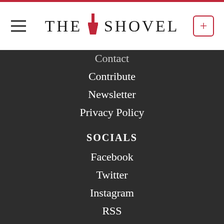THE SHOVEL
Contact
Contribute
Newsletter
Privacy Policy
SOCIALS
Facebook
Twitter
Instagram
RSS
CATEGORIES